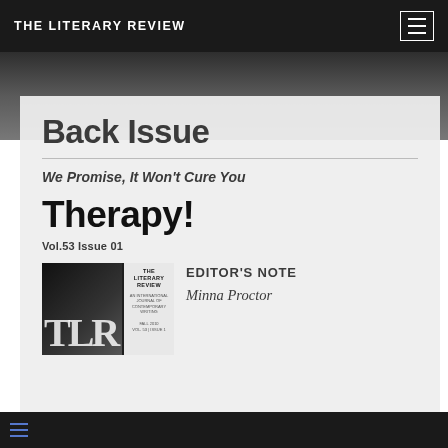THE LITERARY REVIEW
Back Issue
We Promise, It Won't Cure You
Therapy!
Vol.53 Issue 01
[Figure (photo): Magazine cover of The Literary Review showing TLR letters in large type over a dark background]
EDITOR'S NOTE
Minna Proctor